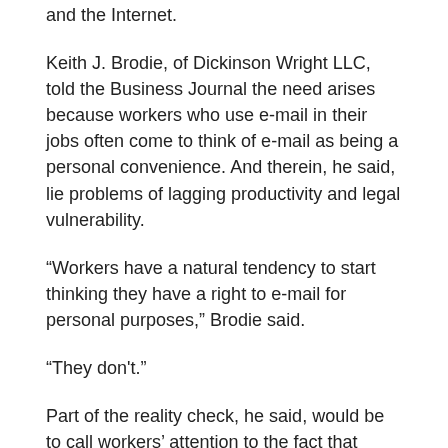and the Internet.
Keith J. Brodie, of Dickinson Wright LLC, told the Business Journal the need arises because workers who use e-mail in their jobs often come to think of e-mail as being a personal convenience. And therein, he said, lie problems of lagging productivity and legal vulnerability.
“Workers have a natural tendency to start thinking they have a right to e-mail for personal purposes,” Brodie said.
“They don't.”
Part of the reality check, he said, would be to call workers’ attention to the fact that misusing e-mail is the same waste of employer time as chatting on the office phones. Too, in some cases, misusing such equipment can be a criminal offense.